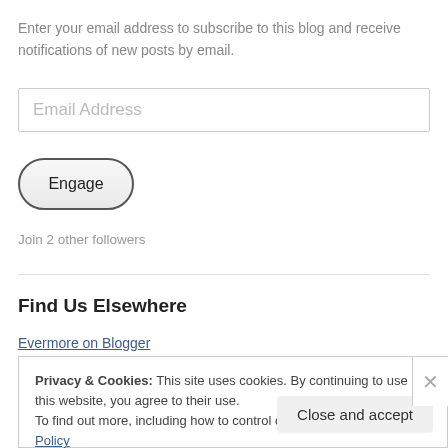Enter your email address to subscribe to this blog and receive notifications of new posts by email.
Email Address
Engage
Join 2 other followers
Find Us Elsewhere
Evermore on Blogger
Privacy & Cookies: This site uses cookies. By continuing to use this website, you agree to their use.
To find out more, including how to control cookies, see here: Cookie Policy
Close and accept